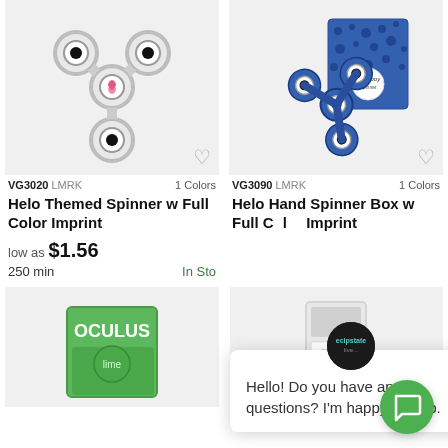[Figure (photo): White fidget spinner with pink ribbon logo, product photo on light gray background]
[Figure (photo): Blue fidget spinner with patterned box packaging, product photo on light gray background]
VG3020 LMRK   1 Colors
VG3090 LMRK   1 Colors
Helo Themed Spinner w Full Color Imprint
Helo Hand Spinner Box w Full Color Imprint
low as $1.56
250 min
In Stock
[Figure (screenshot): Chat popup overlay with logo, close button, and message: Hello! Do you have any questions? I'm happy to help.]
[Figure (photo): Green Oculus product box, partial view, bottom left product slot]
[Figure (photo): White/gray product (phone case or holder), partial view, bottom right product slot]